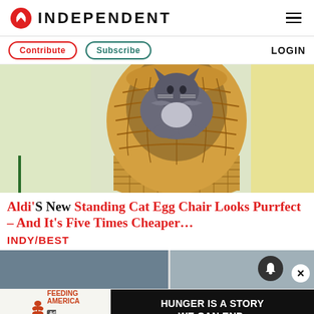INDEPENDENT
Contribute  Subscribe  LOGIN
[Figure (photo): A fluffy gray cat sitting inside a large woven rattan/wicker standing cat egg chair, viewed from the front. The background shows a light-colored room with pale yellow and green accents.]
Aldi'S New Standing Cat Egg Chair Looks Purrfect – And It's Five Times Cheaper…
INDY/BEST
[Figure (photo): Bottom strip showing partial interior room photos.]
[Figure (other): Advertisement banner: Feeding America logo with Ad Council badge and text 'HUNGER IS A STORY WE CAN END.']